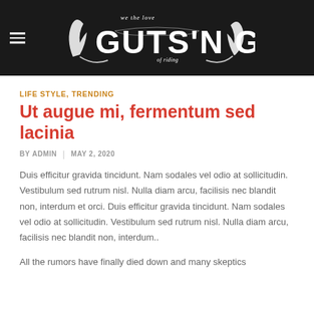GUTS'N GAS — we the love of riding
LIFE STYLE, TRENDING
Ut augue mi, fermentum sed lacinia
BY ADMIN | MAY 2, 2020
Duis efficitur gravida tincidunt. Nam sodales vel odio at sollicitudin. Vestibulum sed rutrum nisl. Nulla diam arcu, facilisis nec blandit non, interdum et orci. Duis efficitur gravida tincidunt. Nam sodales vel odio at sollicitudin. Vestibulum sed rutrum nisl. Nulla diam arcu, facilisis nec blandit non, interdum..
All the rumors have finally died down and many skeptics